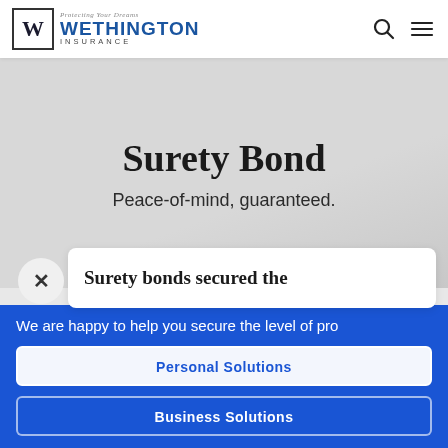[Figure (logo): Wethington Insurance logo with W emblem, tagline 'Protecting Your Dreams', company name in blue, and 'INSURANCE' subtitle]
Surety Bond
Peace-of-mind, guaranteed.
Surety bonds secured the
We are happy to help you secure the level of pro
Personal Solutions
Business Solutions